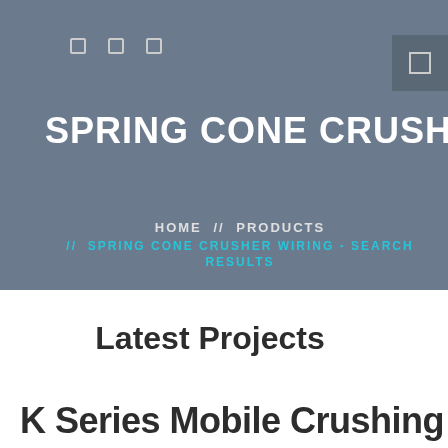SPRING CONE CRUSHER WIRING
HOME // PRODUCTS // SPRING CONE CRUSHER WIRING - SEARCH RESULTS
Latest Projects
K Series Mobile Crushing Plant